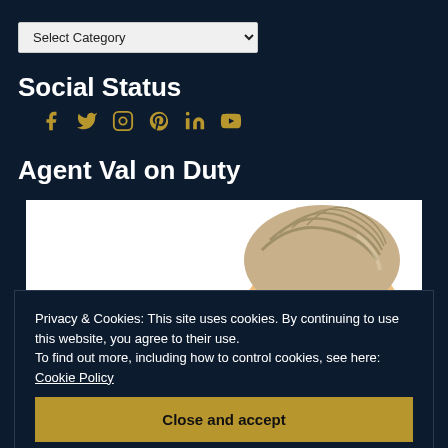Select Category
Social Status
[Figure (other): Row of social media icons: Facebook, Twitter, Instagram, Pinterest, LinkedIn, YouTube in gold color]
Agent Val on Duty
[Figure (photo): Partial photo of a person with grey/blonde hair against white background]
Privacy & Cookies: This site uses cookies. By continuing to use this website, you agree to their use.
To find out more, including how to control cookies, see here: Cookie Policy
Close and accept